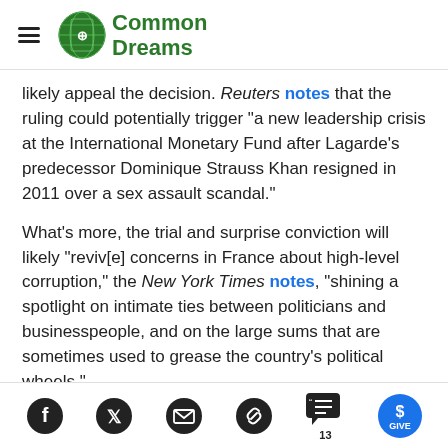Common Dreams
likely appeal the decision. Reuters notes that the ruling could potentially trigger "a new leadership crisis at the International Monetary Fund after Lagarde's predecessor Dominique Strauss Khan resigned in 2011 over a sex assault scandal."
What's more, the trial and surprise conviction will likely "reviv[e] concerns in France about high-level corruption," the New York Times notes, "shining a spotlight on intimate ties between politicians and businesspeople, and on the large sums that are sometimes used to grease the country's political wheels."
Social sharing bar with Facebook, Twitter, Email, Link, Comments (13), Give